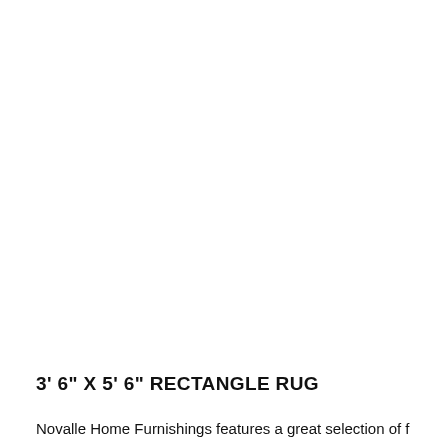3' 6" X 5' 6" RECTANGLE RUG
Novalle Home Furnishings features a great selection of f